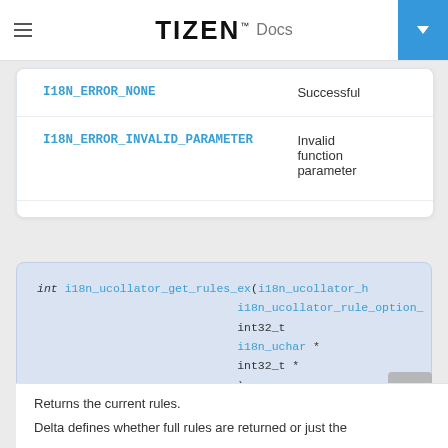TIZEN Docs
| Error Code | Description |
| --- | --- |
| I18N_ERROR_NONE | Successful |
| I18N_ERROR_INVALID_PARAMETER | Invalid function parameter |
int i18n_ucollator_get_rules_ex(i18n_ucollator_h
  i18n_ucollator_rule_option_
  int32_t
  i18n_uchar *
  int32_t *
)
Returns the current rules.
Delta defines whether full rules are returned or just the